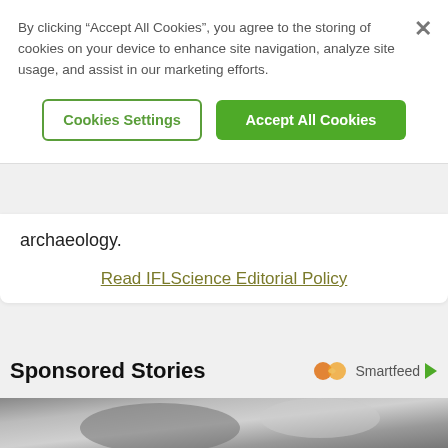By clicking “Accept All Cookies”, you agree to the storing of cookies on your device to enhance site navigation, analyze site usage, and assist in our marketing efforts.
Cookies Settings
Accept All Cookies
archaeology.
Read IFLScience Editorial Policy
Sponsored Stories
Smartfeed
[Figure (photo): Black and white close-up photo of a person's lips and hand]